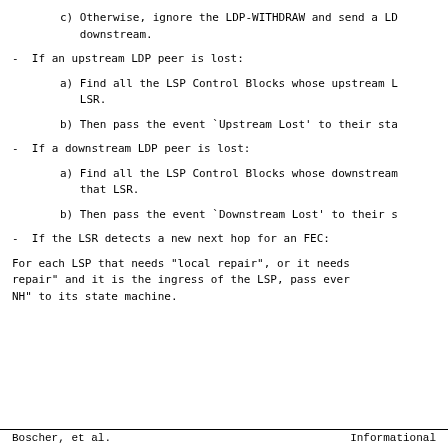c) Otherwise, ignore the LDP-WITHDRAW and send a LD downstream.
- If an upstream LDP peer is lost:
a) Find all the LSP Control Blocks whose upstream L LSR.
b) Then pass the event `Upstream Lost' to their sta
- If a downstream LDP peer is lost:
a) Find all the LSP Control Blocks whose downstream that LSR.
b) Then pass the event `Downstream Lost' to their s
- If the LSR detects a new next hop for an FEC:
For each LSP that needs "local repair", or it needs repair" and it is the ingress of the LSP, pass ever NH" to its state machine.
Boscher, et al.                    Informational